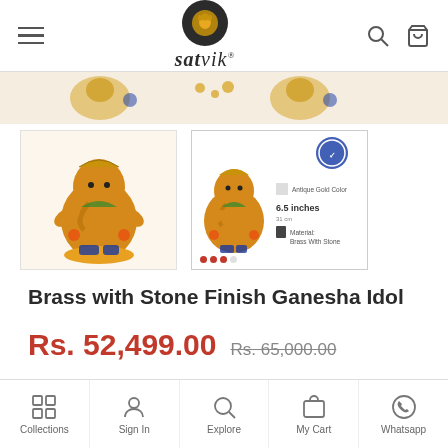satvik
[Figure (photo): Product image strip showing Ganesha idol jewelry at top, and two thumbnail product photos below — one showing a colorful brass Ganesha idol and one showing a catalog/detail image with specifications]
Brass with Stone Finish Ganesha Idol
Rs. 52,499.00  Rs. 65,000.00
Tax included.
Collections  Sign In  Explore  My Cart  Whatsapp